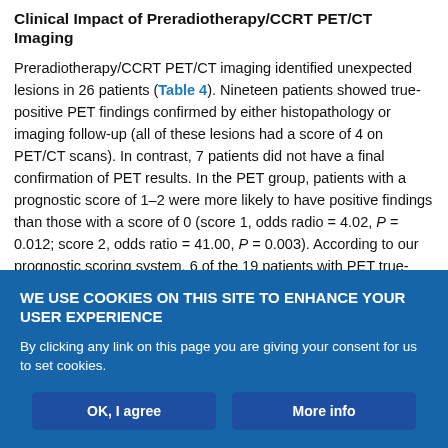Clinical Impact of Preradiotherapy/CCRT PET/CT Imaging
Preradiotherapy/CCRT PET/CT imaging identified unexpected lesions in 26 patients (Table 4). Nineteen patients showed true-positive PET findings confirmed by either histopathology or imaging follow-up (all of these lesions had a score of 4 on PET/CT scans). In contrast, 7 patients did not have a final confirmation of PET results. In the PET group, patients with a prognostic score of 1–2 were more likely to have positive findings than those with a score of 0 (score 1, odds radio = 4.02, P = 0.012; score 2, odds ratio = 41.00, P = 0.003). According to our prognostic scoring system, 6 of the 19 patients with PET true-positive results had a score of 0 (low-risk), 10 had a score
WE USE COOKIES ON THIS SITE TO ENHANCE YOUR USER EXPERIENCE
By clicking any link on this page you are giving your consent for us to set cookies.